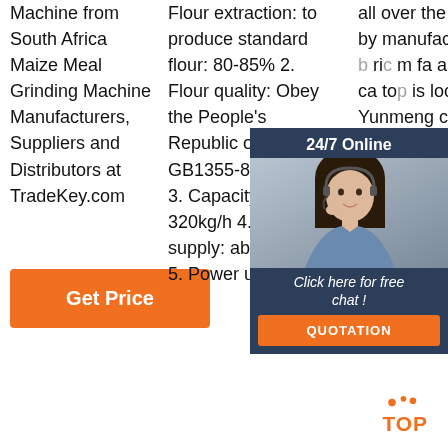Machine from South Africa Maize Meal Grinding Machine Manufacturers, Suppliers and Distributors at TradeKey.com
[Figure (other): Orange 'Get Price' button]
Flour extraction: to produce standard flour: 80-85% 2. Flour quality: Obey the People's Republic of China's GB1355-88 standard 3. Capacity: 280-320kg/h 4. Power supply: about 10 Kw 5. Power using:
all over the world by manufacturing a rich m fa ar so ar ca to is located in Yunmeng city, 80 km far from Wuhan city.
[Figure (other): 24/7 Online chat widget with female customer service representative photo, 'Click here for free chat!' text, and orange QUOTATION button]
[Figure (logo): TOP logo with dots]